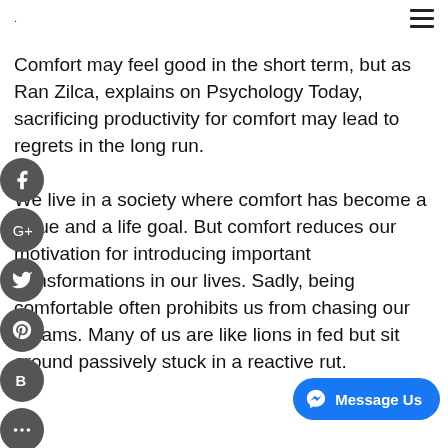. ≡
Comfort may feel good in the short term, but as Ran Zilca, explains on Psychology Today, sacrificing productivity for comfort may lead to regrets in the long run.

We live in a society where comfort has become a value and a life goal. But comfort reduces our motivation for introducing important transformations in our lives. Sadly, being comfortable often prohibits us from chasing our dreams. Many of us are like lions in fed but sit around passively stuck in a reactive rut.